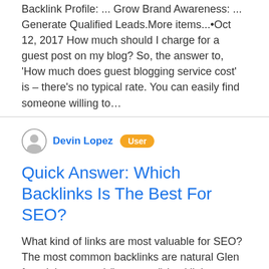Backlink Profile: ... Grow Brand Awareness: ... Generate Qualified Leads.More items...•Oct 12, 2017 How much should I charge for a guest post on my blog? So, the answer to, 'How much does guest blogging service cost' is – there's no typical rate. You can easily find someone willing to…
Devin Lopez User
Quick Answer: Which Backlinks Is The Best For SEO?
What kind of links are most valuable for SEO? The most common backlinks are natural Glen found that natural (i.e.earned) backlinks top the chart, which is as it should be.However, the study also found that many high ranking websites have some very low